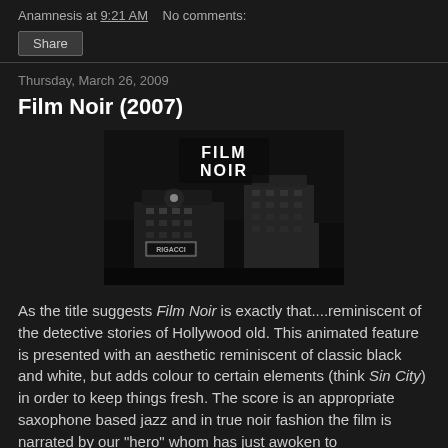Anamnesis at 9:21 AM    No comments:
Share
Thursday, March 26, 2009
Film Noir (2007)
[Figure (photo): Black and white film noir style image showing city buildings at night with 'FILM NOIR' text displayed prominently at the top of the image]
As the title suggests Film Noir is exactly that....reminiscent of the detective stories of Hollywood old. This animated feature is presented with an aesthetic reminiscent of classic black and white, but adds colour to certain elements (think Sin City) in order to keep things fresh. The score is an appropriate saxophone based jazz and in true noir fashion the film is narrated by our "hero" whom has just awoken to